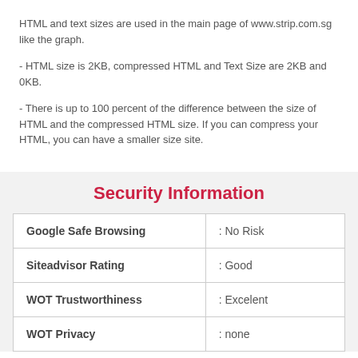HTML and text sizes are used in the main page of www.strip.com.sg like the graph.
- HTML size is 2KB, compressed HTML and Text Size are 2KB and 0KB.
- There is up to 100 percent of the difference between the size of HTML and the compressed HTML size. If you can compress your HTML, you can have a smaller size site.
Security Information
|  |  |
| --- | --- |
| Google Safe Browsing | : No Risk |
| Siteadvisor Rating | : Good |
| WOT Trustworthiness | : Excelent |
| WOT Privacy | : none |